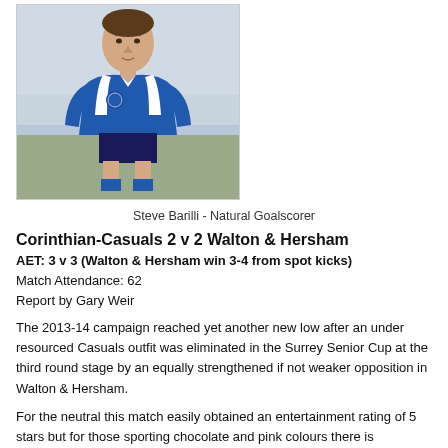[Figure (photo): Footballer Steve Barilli wearing a blue and white football kit, running on a pitch]
Steve Barilli - Natural Goalscorer
Corinthian-Casuals 2 v 2 Walton & Hersham
AET: 3 v 3 (Walton & Hersham win 3-4 from spot kicks)
Match Attendance: 62
Report by Gary Weir
The 2013-14 campaign reached yet another new low after an under resourced Casuals outfit was eliminated in the Surrey Senior Cup at the third round stage by an equally strengthened if not weaker opposition in Walton & Hersham.
For the neutral this match easily obtained an entertainment rating of 5 stars but for those sporting chocolate and pink colours there is